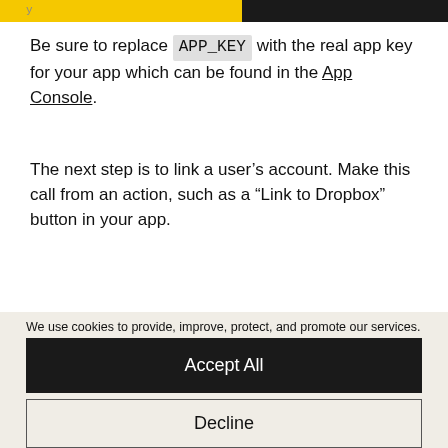Be sure to replace APP_KEY with the real app key for your app which can be found in the App Console.
The next step is to link a user's account. Make this call from an action, such as a “Link to Dropbox” button in your app.
We use cookies to provide, improve, protect, and promote our services. Visit our Privacy Policy and Privacy Policy FAQ to learn more. You can manage your personal preferences in our Cookie Consent Tool.
Accept All
Decline